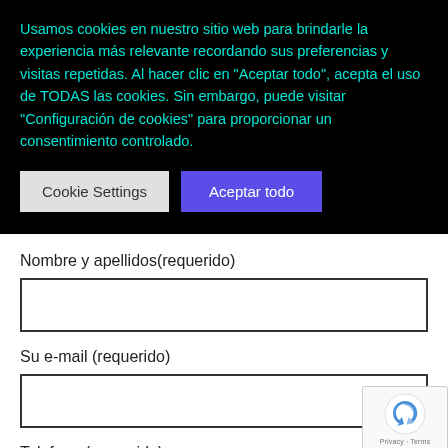Usamos cookies en nuestro sitio web para brindarle la experiencia más relevante recordando sus preferencias y visitas repetidas. Al hacer clic en "Aceptar todo", acepta el uso de TODAS las cookies. Sin embargo, puede visitar "Configuración de cookies" para proporcionar un consentimiento controlado.
Cookie Settings
Aceptar todo
Nombre y apellidos(requerido)
Su e-mail (requerido)
Telefono (requerido)
[Figure (logo): reCAPTCHA badge with rotating arrows icon and Privacy · Terms text]